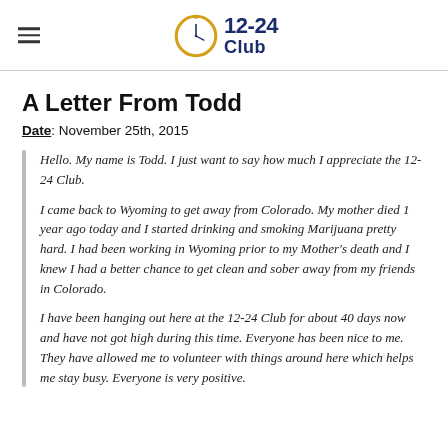12-24 Club
A Letter From Todd
Date: November 25th, 2015
Hello.  My name is Todd.  I just want to say how much I appreciate the 12-24 Club.

I came back to Wyoming to get away from Colorado.  My mother died 1 year ago today and I started drinking and smoking Marijuana pretty hard.  I had been working in Wyoming prior to my Mother's death and I knew I had a better chance to get clean and sober away from my friends in Colorado.

I have been hanging out here at the 12-24 Club for about 40 days now and have not got high during this time. Everyone has been nice to me. They have allowed me to volunteer with things around here which helps me stay busy. Everyone is very positive.